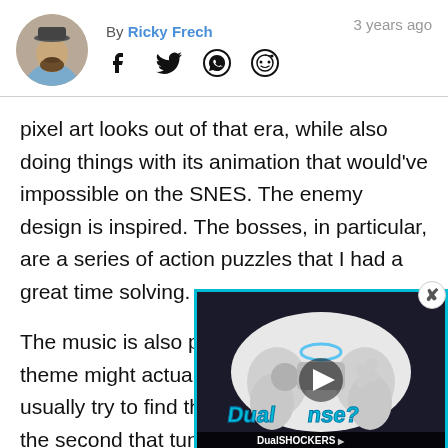By Ricky Frech — 3 years ago
pixel art looks out of that era, while also doing things with its animation that would've impossible on the SNES. The enemy design is inspired. The bosses, in particular, are a series of action puzzles that I had a great time solving.
The music is also particularly e[xcellent.] [The] theme might actually be my fav[orite. I] usually try to find the quickest w[ay to skip] the second that tune started to fade in, I knew I was watching the whole thing. It's that good. The rest of the music is solid to great.
[Figure (screenshot): DualSHOCKERS video overlay showing a PS5 DualSense controller with 'Dual[Sense?]' text and DualSHOCKERS Discussion Video label, with a play button in the center]